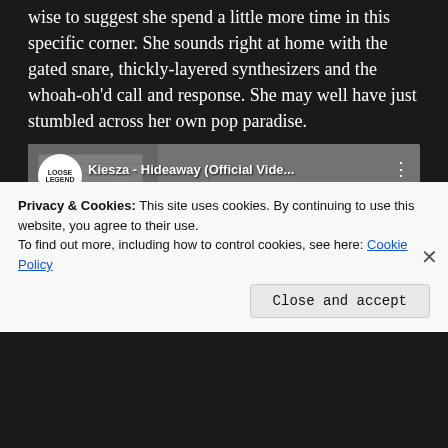wise to suggest she spend a little more time in this specific corner. She sounds right at home with the gated snare, thickly-layered synthesizers and the whoah-oh'd call and response. She may well have just stumbled across her own pop paradise.
[Figure (screenshot): YouTube video embed showing 'Kiesza - Hideaway (Official Vide...' with a play button, channel logo (Loose Legend), and street scene background with a dancer]
Privacy & Cookies: This site uses cookies. By continuing to use this website, you agree to their use.
To find out more, including how to control cookies, see here: Cookie Policy